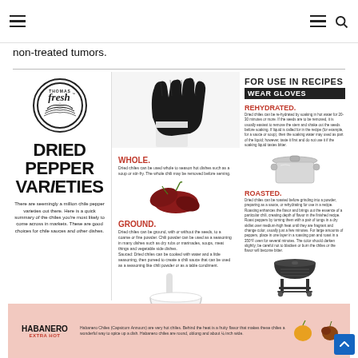Navigation header with hamburger menu and search icon
non-treated tumors.
[Figure (infographic): Thomas Fresh Dried Pepper Varieties infographic showing logo, title text, description, and instructions for use in recipes including rehydrated, whole, ground, and roasted methods with images of gloves, chili peppers, mortar and pestle, pot, and grill]
HABANERO EXTRA HOT - Habanero Chiles (Capsicum Annuum) are very hot chiles. Behind the heat is a fruity flavor that makes these chiles a wonderful way to spice up a dish. Habanero chiles are round, oblong and about 1/4 inch wide.